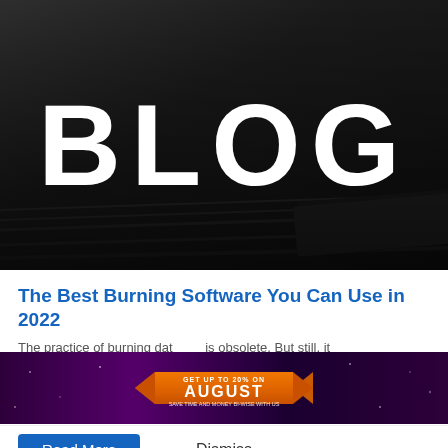[Figure (photo): Dark gray textured background with stacked books/notebooks visible at the bottom, serving as a hero banner image for a blog page]
BLOG
The Best Burning Software You Can Use in 2022
The practice of burning dat... is obsolete. But still, it
[Figure (infographic): Promotional banner with purple/space background and orange ribbon badge saying 'GET UP TO 20% ON AUGUST' with decorative stars]
Read More
Dismiss